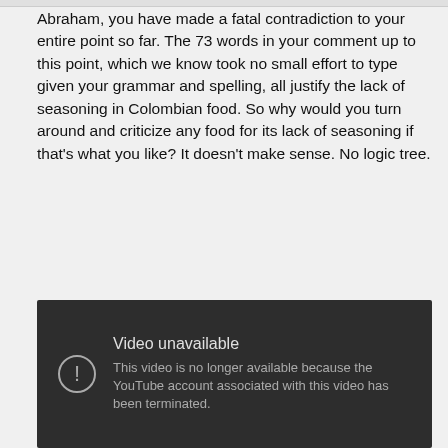Abraham, you have made a fatal contradiction to your entire point so far. The 73 words in your comment up to this point, which we know took no small effort to type given your grammar and spelling, all justify the lack of seasoning in Colombian food. So why would you turn around and criticize any food for its lack of seasoning if that's what you like? It doesn't make sense. No logic tree.
[Figure (screenshot): YouTube video unavailable error screen with dark background. Shows a circle with exclamation mark icon on the left, 'Video unavailable' as heading, and message 'This video is no longer available because the YouTube account associated with this video has been terminated.']